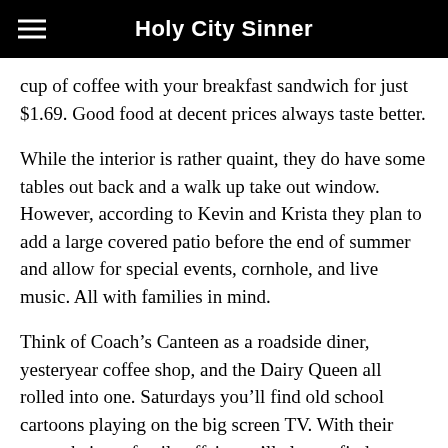Holy City Sinner
cup of coffee with your breakfast sandwich for just $1.69. Good food at decent prices always taste better.
While the interior is rather quaint, they do have some tables out back and a walk up take out window. However, according to Kevin and Krista they plan to add a large covered patio before the end of summer and allow for special events, cornhole, and live music. All with families in mind.
Think of Coach’s Canteen as a roadside diner, yesteryear coffee shop, and the Dairy Queen all rolled into one. Saturdays you’ll find old school cartoons playing on the big screen TV. With their eatery being a family affair you’ll always find a Mingo working in the kitchen, at the counter, or the register. Krista is the resident live wire and easily the overall spokesperson for the Coach’s